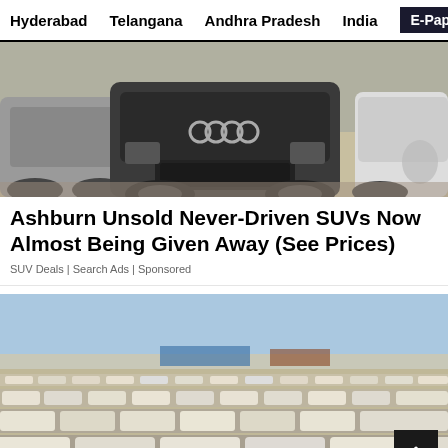Hyderabad   Telangana   Andhra Pradesh   India   E-Paper
[Figure (photo): Close-up photo of parked cars including a dark Audi SUV with other vehicles in a lot]
Ashburn Unsold Never-Driven SUVs Now Almost Being Given Away (See Prices)
SUV Deals | Search Ads | Sponsored
[Figure (photo): Wide aerial-style photo of a large lot filled with rows of white/light-colored SUVs and cars stretching to the horizon under a blue sky]